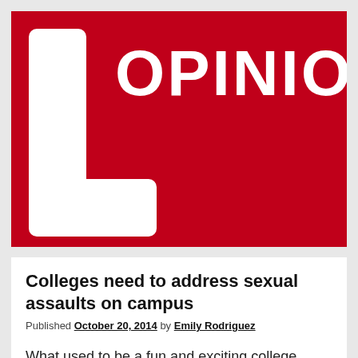[Figure (logo): Red banner with white 'OPINION' text in large bold letters and a large white letter L shape on the left side, forming a newspaper/magazine section header graphic on a red background.]
Colleges need to address sexual assaults on campus
Published October 20, 2014 by Emily Rodriguez
What used to be a fun and exciting college experience is turning into a nightmare for many students. Parties have become rape scenes and universities…